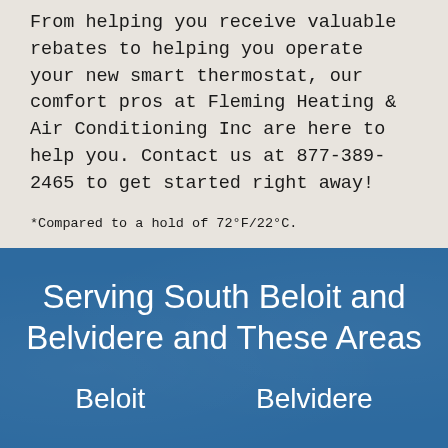From helping you receive valuable rebates to helping you operate your new smart thermostat, our comfort pros at Fleming Heating & Air Conditioning Inc are here to help you. Contact us at 877-389-2465 to get started right away!
*Compared to a hold of 72°F/22°C.
Serving South Beloit and Belvidere and These Areas
Beloit
Belvidere